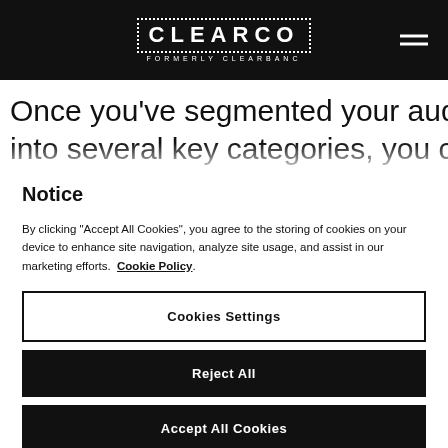CLEARCO FORMERLY CLEARBANC
Once you've segmented your audience into several key categories, you can build
Notice
By clicking "Accept All Cookies", you agree to the storing of cookies on your device to enhance site navigation, analyze site usage, and assist in our marketing efforts. Cookie Policy.
Cookies Settings
Reject All
Accept All Cookies